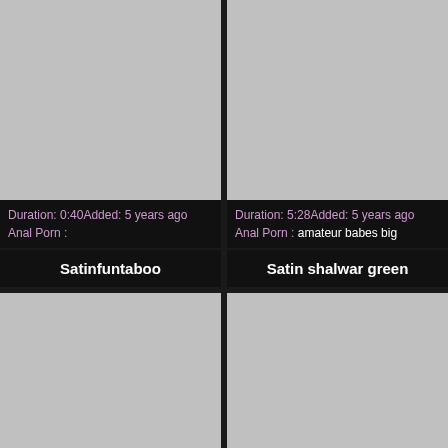[Figure (photo): Gray placeholder thumbnail, top left]
[Figure (photo): Gray placeholder thumbnail, top right]
Duration: 0:40Added: 5 years ago
Anal Porn :
Duration: 5:28Added: 5 years ago
Anal Porn : amateur babes big
Satinfuntaboo
Satin shalwar green
[Figure (photo): Gray placeholder thumbnail, bottom left]
[Figure (photo): Gray placeholder thumbnail, bottom right]